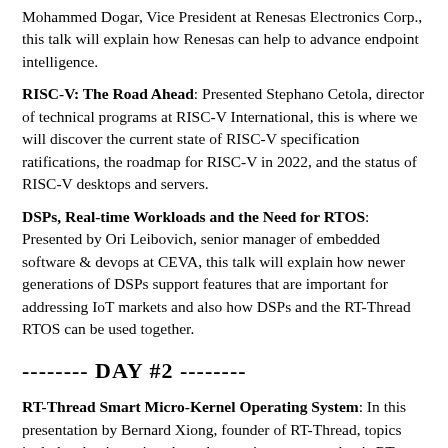Mohammed Dogar, Vice President at Renesas Electronics Corp., this talk will explain how Renesas can help to advance endpoint intelligence.
RISC-V: The Road Ahead: Presented Stephano Cetola, director of technical programs at RISC-V International, this is where we will discover the current state of RISC-V specification ratifications, the roadmap for RISC-V in 2022, and the status of RISC-V desktops and servers.
DSPs, Real-time Workloads and the Need for RTOS: Presented by Ori Leibovich, senior manager of embedded software & devops at CEVA, this talk will explain how newer generations of DSPs support features that are important for addressing IoT markets and also how DSPs and the RT-Thread RTOS can be used together.
-------- DAY #2 --------
RT-Thread Smart Micro-Kernel Operating System: In this presentation by Bernard Xiong, founder of RT-Thread, topics include what is a micro-kernel operating system, what is RT-Smart and who needs RT-Smart, and a collection of different application scenarios.
PikaScript, An Ultra-lightweight Python Engine Under RT-